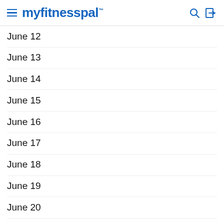myfitnesspal
June 12
June 13
June 14
June 15
June 16
June 17
June 18
June 19
June 20
June 21
June 22
June 23
June 24
June 25
June 26
June 27
June 28